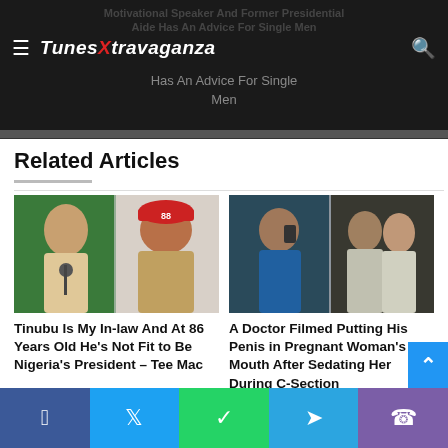TunesXtravaganza – Motivational Speaker And Former Presidential Aide Has An Advice For Single Men
Related Articles
[Figure (photo): Two men: one at microphone wearing traditional attire, another older man in red cap and grey traditional wear (Tinubu)]
Tinubu Is My In-law And At 86 Years Old He's Not Fit to Be Nigeria's President – Tee Mac
July 28, 2022
[Figure (photo): Two photos side by side: a man in scrubs taking selfie in mirror, and two men walking side by side]
A Doctor Filmed Putting His Penis in Pregnant Woman's Mouth After Sedating Her During C-Section
July 14, 2022
Facebook | Twitter | WhatsApp | Telegram | Phone